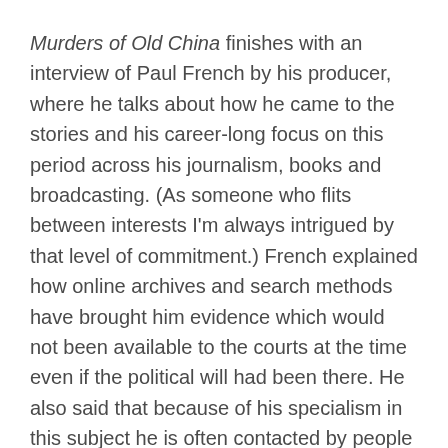Murders of Old China finishes with an interview of Paul French by his producer, where he talks about how he came to the stories and his career-long focus on this period across his journalism, books and broadcasting. (As someone who flits between interests I'm always intrigued by that level of commitment.) French explained how online archives and search methods have brought him evidence which would not been available to the courts at the time even if the political will had been there. He also said that because of his specialism in this subject he is often contacted by people with information about family members who were in China at that time.
French points out how China is a key part of all our lives, yet we know little about it and do not